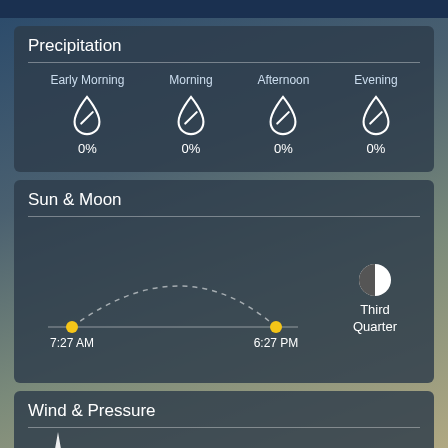Precipitation
| Early Morning | Morning | Afternoon | Evening |
| --- | --- | --- | --- |
| 0% | 0% | 0% | 0% |
Sun & Moon
[Figure (other): Sun arc diagram showing sunrise at 7:27 AM and sunset at 6:27 PM with a dashed arc. Moon phase shown as Third Quarter.]
Third Quarter
7:27 AM
6:27 PM
Wind & Pressure